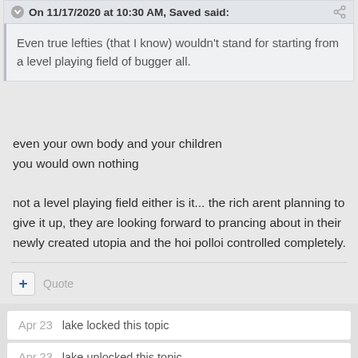On 11/17/2020 at 10:30 AM, Saved said:
Even true lefties (that I know) wouldn't stand for starting from a level playing field of bugger all.
even your own body and your children
you would own nothing

not a level playing field either is it... the rich arent planning to give it up, they are looking forward to prancing about in their newly created utopia and the hoi polloi controlled completely.
+ Quote
Apr 23   lake locked this topic
Apr 23   lake unlocked this topic